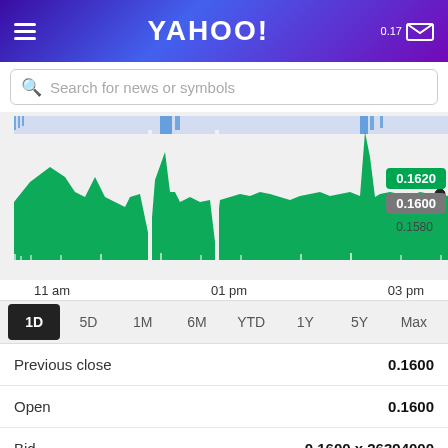YAHOO!
Search for news or symbols
[Figure (continuous-plot): Intraday stock price chart showing price movement from morning to ~3pm. Green area chart with price labels 0.1620 (green badge), 0.1600 (gray badge), 0.1580. Time axis shows 11 am, 01 pm, 03 pm. Volume bars at bottom.]
1D  5D  1M  6M  YTD  1Y  5Y  Max
|  |  |
| --- | --- |
| Previous close | 0.1600 |
| Open | 0.1600 |
| Bid | 0.1600 x 26394000 |
| Ask | 0.1700 x 58063400 |
| Day's range | 0.1600 - 0.1700 |